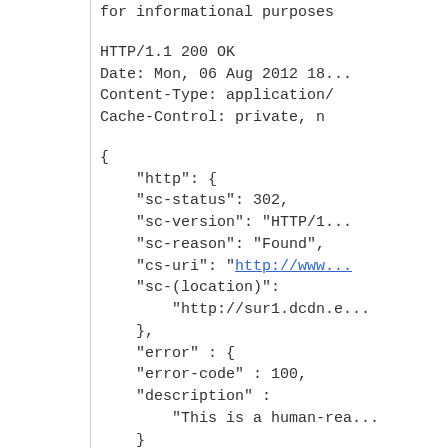for informational purposes
HTTP/1.1 200 OK
Date: Mon, 06 Aug 2012 18...
Content-Type: application/...
Cache-Control: private, n...
{
    "http": {
    "sc-status": 302,
    "sc-version": "HTTP/1...
    "sc-reason": "Found",
    "cs-uri": "http://www...
    "sc-(location)":
        "http://sur1.dcdn.e...
    },
    "error" : {
    "error-code" : 100,
    "description" :
        "This is a human-rea...
    }
}